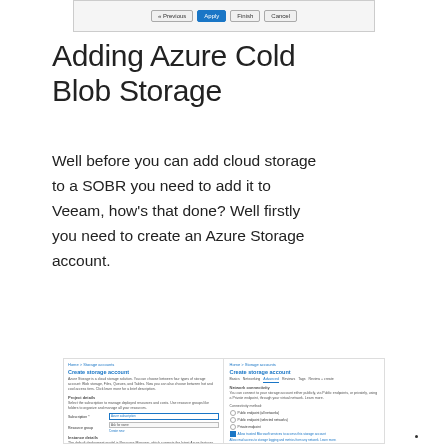[Figure (screenshot): Dialog window with Previous, Apply (highlighted blue), Finish, and Cancel buttons]
Adding Azure Cold Blob Storage
Well before you can add cloud storage to a SOBR you need to add it to Veeam, how's that done? Well firstly you need to create an Azure Storage account.
[Figure (screenshot): Azure portal Create storage account form showing two side-by-side views with fields for subscription, resource group, storage account name, location, performance, replication, access tier settings, and a Create button]